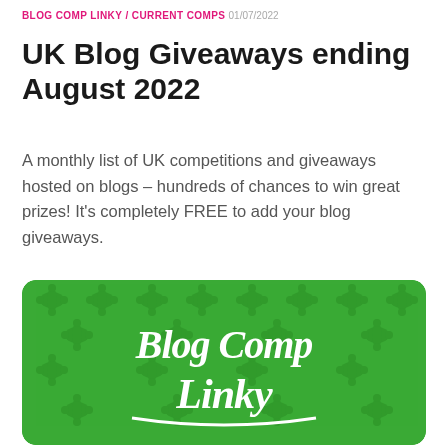BLOG COMP LINKY / CURRENT COMPS 01/07/2022
UK Blog Giveaways ending August 2022
A monthly list of UK competitions and giveaways hosted on blogs – hundreds of chances to win great prizes! It's completely FREE to add your blog giveaways.
[Figure (logo): Green card with ornate damask pattern background and white script text reading 'Blog Comp Linky']